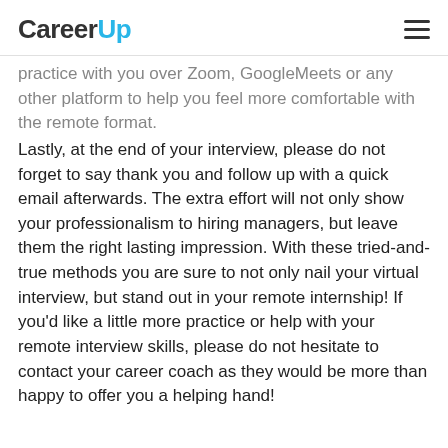CareerUp
practice with you over Zoom, GoogleMeets or any other platform to help you feel more comfortable with the remote format.
Lastly, at the end of your interview, please do not forget to say thank you and follow up with a quick email afterwards. The extra effort will not only show your professionalism to hiring managers, but leave them the right lasting impression. With these tried-and-true methods you are sure to not only nail your virtual interview, but stand out in your remote internship! If you'd like a little more practice or help with your remote interview skills, please do not hesitate to contact your career coach as they would be more than happy to offer you a helping hand!